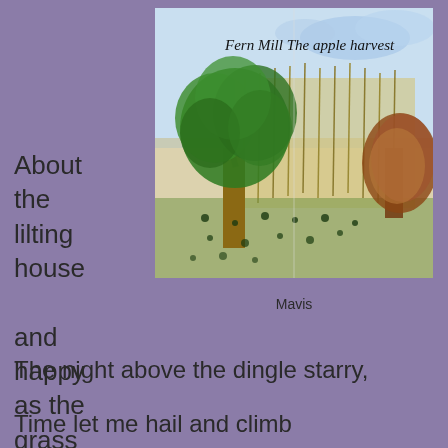[Figure (illustration): Watercolour painting of an apple harvest scene. Title written in handwriting at top: 'Fern Mill  The apple harvest'. Shows a large green tree on the left, golden grass fields in the background, wildflowers in the foreground, and a brown tree on the right, under a blue sky with clouds.]
Mavis
About the lilting house

and happy as the grass was green,
The night above the dingle starry,
Time let me hail and climb